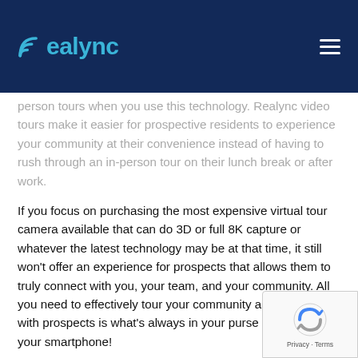realync
person tours when you use this technology. Realync video tours make it easier for prospective residents to experience your community at their convenience instead of having to rush through an in-person tour on their lunch break or after work.
If you focus on purchasing the most expensive virtual tour camera available that can do 3D or full 8K capture or whatever the latest technology may be at that time, it still won't offer an experience for prospects that allows them to truly connect with you, your team, and your community. All you need to effectively tour your community and connect with prospects is what's always in your purse or pocket–your smartphone!
[Figure (other): reCAPTCHA badge with Privacy and Terms links]